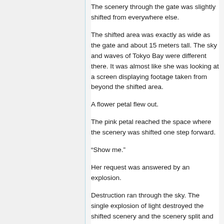The scenery through the gate was slightly shifted from everywhere else.
The shifted area was exactly as wide as the gate and about 15 meters tall. The sky and waves of Tokyo Bay were different there. It was almost like she was looking at a screen displaying footage taken from beyond the shifted area.
A flower petal flew out.
The pink petal reached the space where the scenery was shifted one step forward.
“Show me.”
Her request was answered by an explosion.
Destruction ran through the sky. The single explosion of light destroyed the shifted scenery and the scenery split and